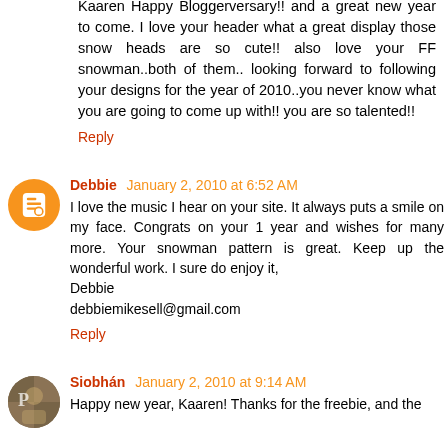Kaaren Happy Bloggerversary!! and a great new year to come. I love your header what a great display those snow heads are so cute!! also love your FF snowman..both of them.. looking forward to following your designs for the year of 2010..you never know what you are going to come up with!! you are so talented!!
Reply
Debbie January 2, 2010 at 6:52 AM
I love the music I hear on your site. It always puts a smile on my face. Congrats on your 1 year and wishes for many more. Your snowman pattern is great. Keep up the wonderful work. I sure do enjoy it,
Debbie
debbiemikesell@gmail.com
Reply
Siobhán January 2, 2010 at 9:14 AM
Happy new year, Kaaren! Thanks for the freebie, and the